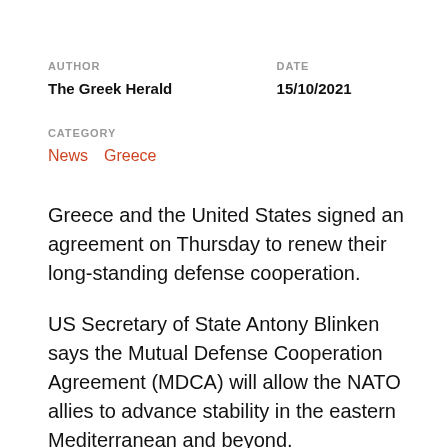AUTHOR
The Greek Herald
DATE
15/10/2021
CATEGORY
News   Greece
Greece and the United States signed an agreement on Thursday to renew their long-standing defense cooperation.
US Secretary of State Antony Blinken says the Mutual Defense Cooperation Agreement (MDCA) will allow the NATO allies to advance stability in the eastern Mediterranean and beyond.